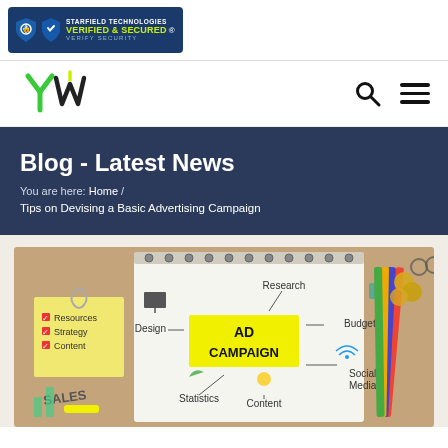[Figure (logo): Starfield Technologies Verified & Secured security badge with shield icon]
[Figure (logo): YW brand logo with green and lime stylized letters]
Blog - Latest News
You are here: Home / Tips on Devising a Basic Advertising Campaign
[Figure (photo): Ad campaign concept image showing a notebook with AD CAMPAIGN highlighted in yellow, surrounded by labels: Research, Design, Budget, Statistics, Content, Social Media, Resources, Strategy, Content checkboxes, SALES chart, and colored pencils on a wooden desk]